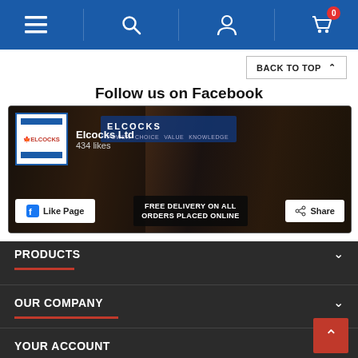Navigation bar with menu, search, account, and cart icons
BACK TO TOP
Follow us on Facebook
[Figure (screenshot): Facebook page widget for Elcocks Ltd showing 434 likes, with Like Page and Share buttons, and a promotional banner saying FREE DELIVERY ON ALL ORDERS PLACED ONLINE over a background image of a power drill]
PRODUCTS
OUR COMPANY
YOUR ACCOUNT